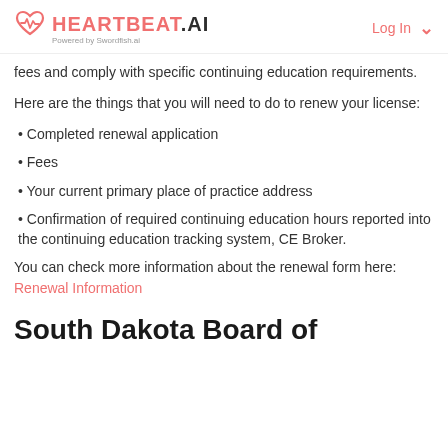HEARTBEAT.AI | Powered by Swordfish.ai | Log In
fees and comply with specific continuing education requirements.
Here are the things that you will need to do to renew your license:
Completed renewal application
Fees
Your current primary place of practice address
Confirmation of required continuing education hours reported into the continuing education tracking system, CE Broker.
You can check more information about the renewal form here: Renewal Information
South Dakota Board of